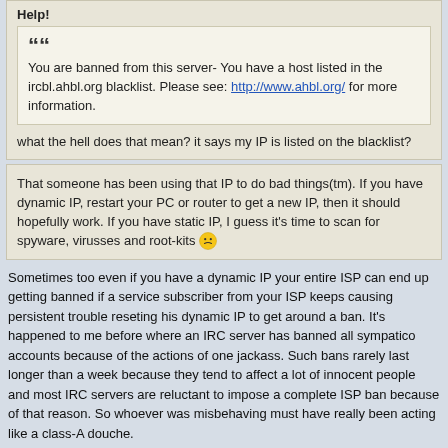Help!
You are banned from this server- You have a host listed in the ircbl.ahbl.org blacklist. Please see: http://www.ahbl.org/ for more information.
what the hell does that mean? it says my IP is listed on the blacklist?
That someone has been using that IP to do bad things(tm). If you have dynamic IP, restart your PC or router to get a new IP, then it should hopefully work. If you have static IP, I guess it's time to scan for spyware, virusses and root-kits
Sometimes too even if you have a dynamic IP your entire ISP can end up getting banned if a service subscriber from your ISP keeps causing persistent trouble reseting his dynamic IP to get around a ban. It's happened to me before where an IRC server has banned all sympatico accounts because of the actions of one jackass. Such bans rarely last longer than a week because they tend to affect a lot of innocent people and most IRC servers are reluctant to impose a complete ISP ban because of that reason. So whoever was misbehaving must have really been acting like a class-A douche.